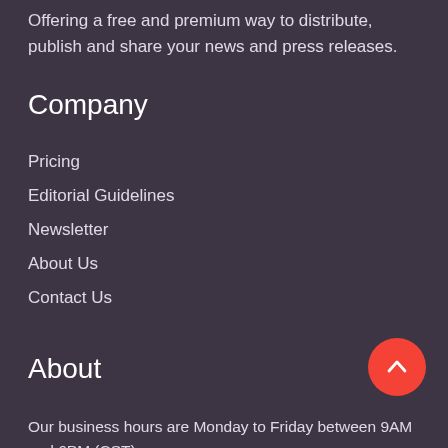Offering a free and premium way to distribute, publish and share your news and press releases.
Company
Pricing
Editorial Guidelines
Newsletter
About Us
Contact Us
About
Our business hours are Monday to Friday between 9AM and 6PM (CST)
hello@thewirepress.com
www.thewirepress.com